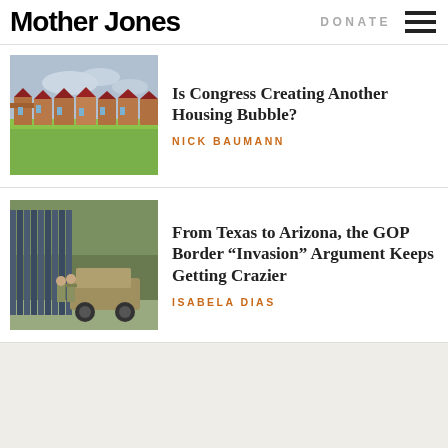Mother Jones | DONATE
Is Congress Creating Another Housing Bubble?
NICK BAUMANN
[Figure (photo): Photograph of a row of brick houses behind a green field under a cloudy sky]
From Texas to Arizona, the GOP Border “Invasion” Argument Keeps Getting Crazier
ISABELA DIAS
[Figure (photo): Photograph of soldiers and a military humvee next to a tall metal border fence]